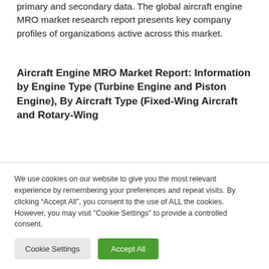primary and secondary data. The global aircraft engine MRO market research report presents key company profiles of organizations active across this market.
Aircraft Engine MRO Market Report: Information by Engine Type (Turbine Engine and Piston Engine), By Aircraft Type (Fixed-Wing Aircraft and Rotary-Wing
We use cookies on our website to give you the most relevant experience by remembering your preferences and repeat visits. By clicking “Accept All”, you consent to the use of ALL the cookies. However, you may visit "Cookie Settings" to provide a controlled consent.
Cookie Settings | Accept All